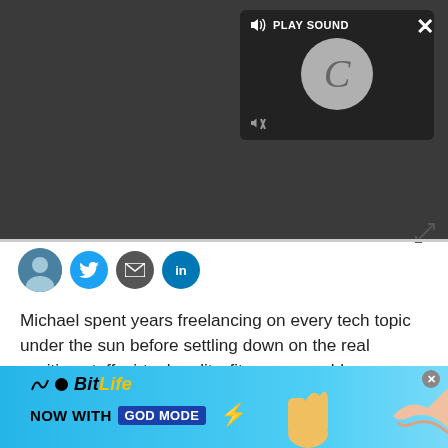[Figure (screenshot): Dark grey top banner with audio player popup showing 'PLAY SOUND' label with speaker icon, a circular loading/pause button in grey, and a muted speaker icon. A white X close button is in the top right.]
[Figure (screenshot): Social sharing row with avatar image, Twitter (blue bird) button, email (envelope) button, and LinkedIn (in) button.]
Michael spent years freelancing on every tech topic under the sun before settling down on the real exciting stuff: virtual reality, fitness wearables, gaming, and how tech intersects with our world. He's a semi-reformed Apple-to-Android user who loves running, D&D, and Star Wars. Find him on Twitter at @Michael_L_Hicks.
[Figure (advertisement): BitLife game ad with blue background showing 'BitLife NOW WITH GOD MODE' text, a thumbs up emoji, lightning bolt, and hand illustrations.]